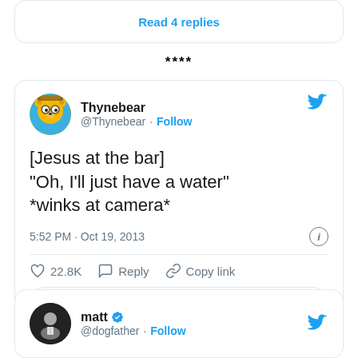[Figure (screenshot): Partial Twitter card showing 'Read 4 replies' button]
****
[Figure (screenshot): Tweet from @Thynebear: '[Jesus at the bar] "Oh, I'll just have a water" *winks at camera*' posted 5:52 PM · Oct 19, 2013 with 22.8K likes and Read 162 replies button]
[Figure (screenshot): Partial tweet card from matt @dogfather with Follow link]